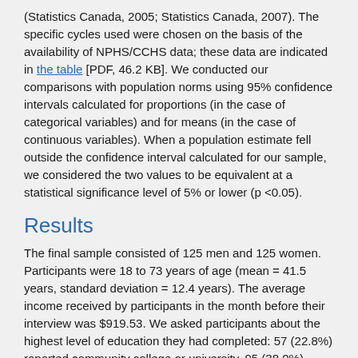(Statistics Canada, 2005; Statistics Canada, 2007). The specific cycles used were chosen on the basis of the availability of NPHS/CCHS data; these data are indicated in the table [PDF, 46.2 KB]. We conducted our comparisons with population norms using 95% confidence intervals calculated for proportions (in the case of categorical variables) and for means (in the case of continuous variables). When a population estimate fell outside the confidence interval calculated for our sample, we considered the two values to be equivalent at a statistical significance level of 5% or lower (p <0.05).
Results
The final sample consisted of 125 men and 125 women. Participants were 18 to 73 years of age (mean = 41.5 years, standard deviation = 12.4 years). The average income received by participants in the month before their interview was $919.53. We asked participants about the highest level of education they had completed: 57 (22.8%) reported community college or university, 95 (38.0%) reported high school and 98 (39.2%) reported grade school. The psychiatric